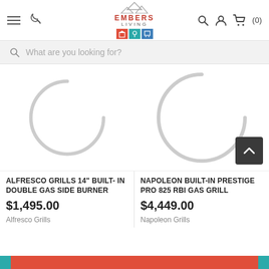Embers Living - navigation header with hamburger menu, phone icon, logo, search, user, cart (0)
What are you looking for?
[Figure (screenshot): Loading spinner circle for Alfresco Grills product image]
ALFRESCO GRILLS 14" BUILT-IN DOUBLE GAS SIDE BURNER
$1,495.00
Alfresco Grills
[Figure (screenshot): Loading spinner circle for Napoleon Grills product image with back-to-top button]
NAPOLEON BUILT-IN PRESTIGE PRO 825 RBI GAS GRILL
$4,449.00
Napoleon Grills